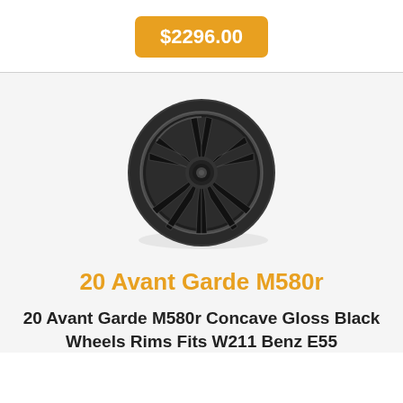$2296.00
[Figure (photo): 20 Avant Garde M580r wheel — a black concave multi-spoke alloy wheel shown at a slight angle on a white background]
20 Avant Garde M580r
20 Avant Garde M580r Concave Gloss Black Wheels Rims Fits W211 Benz E55